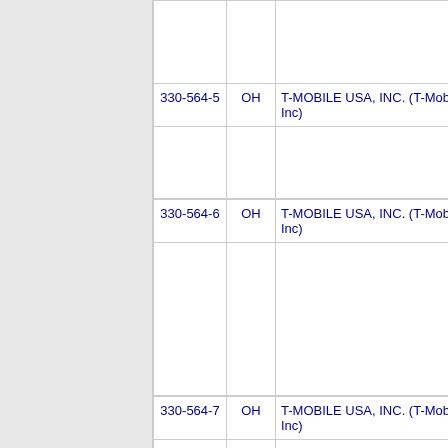| Phone | State | Company | Num |
| --- | --- | --- | --- |
|  |  |  |  |
| 330-564-5 | OH | T-MOBILE USA, INC. (T-Mobile US, Inc) | 65 |
| 330-564-6 | OH | T-MOBILE USA, INC. (T-Mobile US, Inc) | 65 |
| 330-564-7 | OH | T-MOBILE USA, INC. (T-Mobile US, Inc) | 65 |